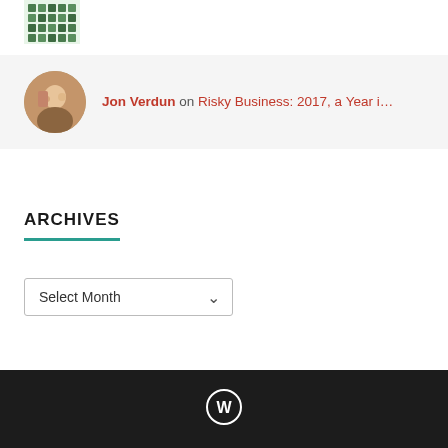[Figure (photo): Green decorative avatar/pattern icon at top left, partially visible]
Jon Verdun on Risky Business: 2017, a Year i...
[Figure (photo): Circular avatar photo showing people, brownish tones]
ARCHIVES
Select Month
[Figure (logo): WordPress logo (W in circle) in white on dark footer bar]